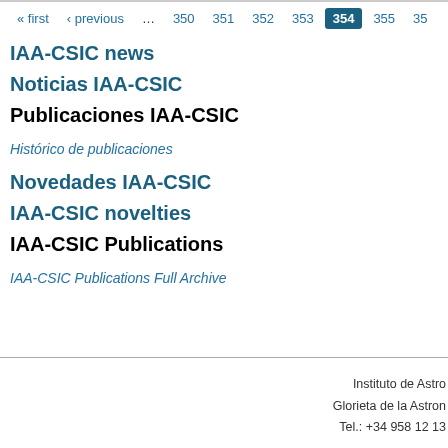« first  ‹ previous  …  350  351  352  353  354  355  35
IAA-CSIC news
Noticias IAA-CSIC
Publicaciones IAA-CSIC
Histórico de publicaciones
Novedades IAA-CSIC
IAA-CSIC novelties
IAA-CSIC Publications
IAA-CSIC Publications Full Archive
Instituto de Astro
Glorieta de la Astron
Tel.: +34 958 12 13